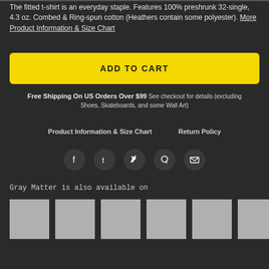The fitted t-shirt is an everyday staple. Features 100% preshrunk 32-single, 4.3 oz. Combed & Ring-spun cotton (Heathers contain some polyester). More Product Information & Size Chart
ADD TO CART
Free Shipping On US Orders Over $99 See checkout for details (excluding Shoes, Skateboards, and some Wall Art)
Product Information & Size Chart    Return Policy
[Figure (infographic): Social media share icons: Facebook, Tumblr, Twitter, Pinterest, Email — white icons on dark gray circles]
Gray Matter is also available on
[Figure (other): Six white/light gray product thumbnail squares arranged in a row]